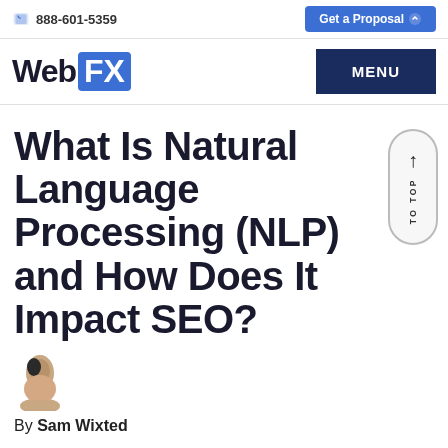888-601-5359 | Get a Proposal
WebFX | MENU
What Is Natural Language Processing (NLP) and How Does It Impact SEO?
By Sam Wixted